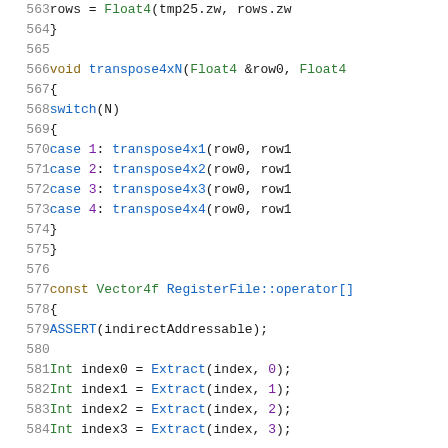Source code listing, lines 563–584, showing C++ transpose and RegisterFile operator implementations